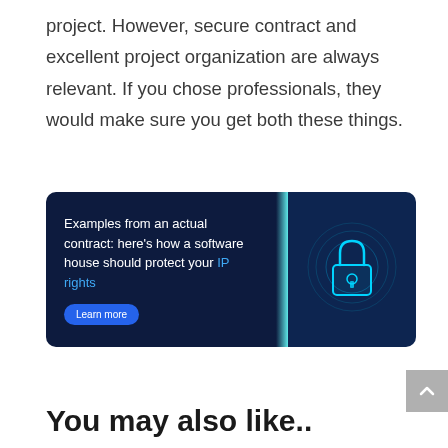project. However, secure contract and excellent project organization are always relevant. If you chose professionals, they would make sure you get both these things.
[Figure (infographic): Banner with dark navy background on left side showing text 'Examples from an actual contract: here’s how a software house should protect your IP rights' with a blue 'Learn more' button, and right side showing a glowing padlock icon on a dark blue circuit board background.]
You may also like..